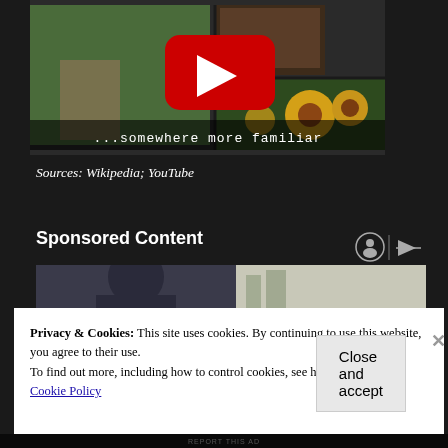[Figure (screenshot): YouTube video thumbnail showing a collage of nature scenes (trees, barn, sunflowers) with a YouTube play button overlay and text '...somewhere more familiar']
Sources: Wikipedia; YouTube
Sponsored Content
[Figure (photo): Partial photo of a person in dark clothing, advertisement image]
Privacy & Cookies: This site uses cookies. By continuing to use this website, you agree to their use.
To find out more, including how to control cookies, see here:
Cookie Policy
Close and accept